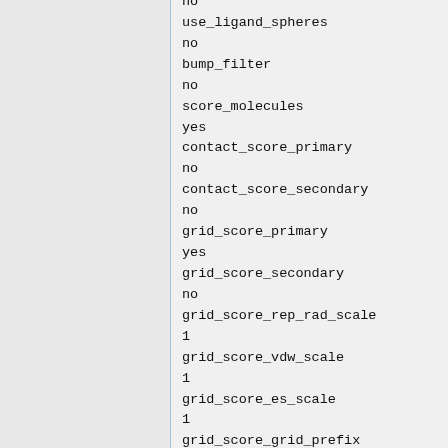no
use_ligand_spheres
no
bump_filter
no
score_molecules
yes
contact_score_primary
no
contact_score_secondary
no
grid_score_primary
yes
grid_score_secondary
no
grid_score_rep_rad_scale
1
grid_score_vdw_scale
1
grid_score_es_scale
1
grid_score_grid_prefix
../../003.gridbox/grid
multigrid_score_secondary
no